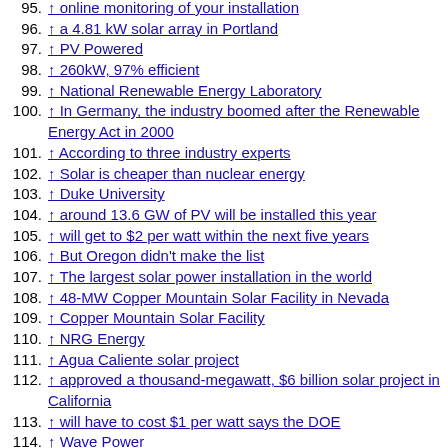95. ↑ online monitoring of your installation
96. ↑ a 4.81 kW solar array in Portland
97. ↑ PV Powered
98. ↑ 260kW, 97% efficient
99. ↑ National Renewable Energy Laboratory
100. ↑ In Germany, the industry boomed after the Renewable Energy Act in 2000
101. ↑ According to three industry experts
102. ↑ Solar is cheaper than nuclear energy
103. ↑ Duke University
104. ↑ around 13.6 GW of PV will be installed this year
105. ↑ will get to $2 per watt within the next five years
106. ↑ But Oregon didn't make the list
107. ↑ The largest solar power installation in the world
108. ↑ 48-MW Copper Mountain Solar Facility in Nevada
109. ↑ Copper Mountain Solar Facility
110. ↑ NRG Energy
111. ↑ Agua Caliente solar project
112. ↑ approved a thousand-megawatt, $6 billion solar project in California
113. ↑ will have to cost $1 per watt says the DOE
114. ↑ Wave Power
115. ↑ Wave energy
116. ↑ committed $200 million in federal funds toward wave energy technology
117. ↑ The nation's first commercial wave power...